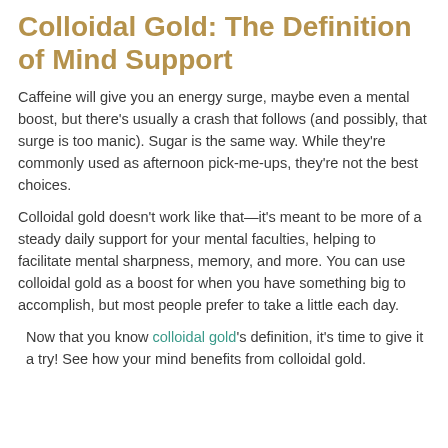Colloidal Gold: The Definition of Mind Support
Caffeine will give you an energy surge, maybe even a mental boost, but there's usually a crash that follows (and possibly, that surge is too manic). Sugar is the same way. While they're commonly used as afternoon pick-me-ups, they're not the best choices.
Colloidal gold doesn't work like that—it's meant to be more of a steady daily support for your mental faculties, helping to facilitate mental sharpness, memory, and more. You can use colloidal gold as a boost for when you have something big to accomplish, but most people prefer to take a little each day.
Now that you know colloidal gold's definition, it's time to give it a try! See how your mind benefits from colloidal gold.